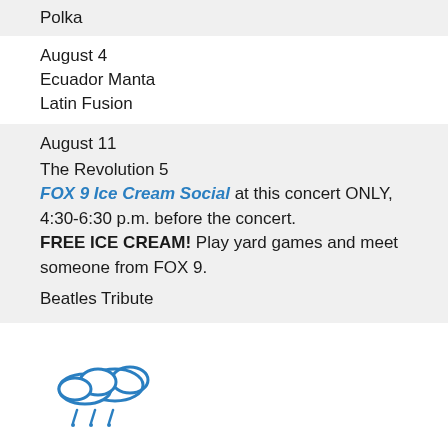Polka
August 4
Ecuador Manta
Latin Fusion
August 11
The Revolution 5
FOX 9 Ice Cream Social at this concert ONLY, 4:30-6:30 p.m. before the concert. FREE ICE CREAM! Play yard games and meet someone from FOX 9.
Beatles Tribute
[Figure (illustration): Weather icon showing two clouds with rain drops, drawn in blue outline style]